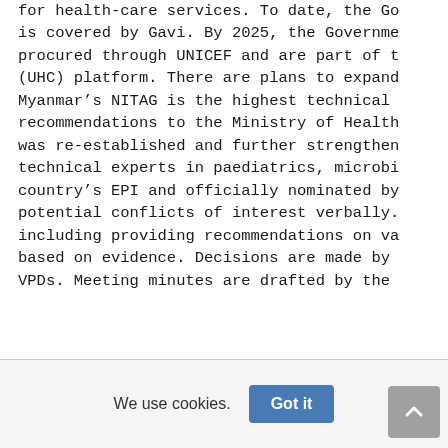for health-care services. To date, the Go is covered by Gavi. By 2025, the Governme procured through UNICEF and are part of t (UHC) platform. There are plans to expand Myanmar's NITAG is the highest technical recommendations to the Ministry of Health was re-established and further strengthen technical experts in paediatrics, microbi country's EPI and officially nominated by potential conflicts of interest verbally. including providing recommendations on va based on evidence. Decisions are made by VPDs. Meeting minutes are drafted by the
We use cookies. Got it